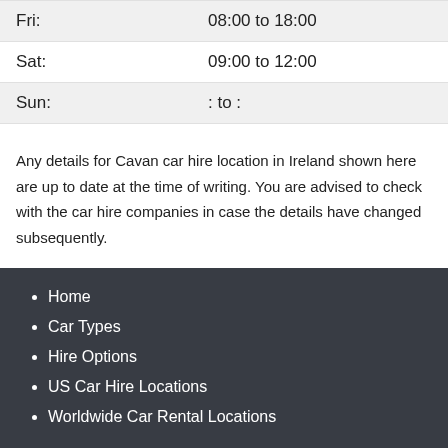| Fri: | 08:00 to 18:00 |
| Sat: | 09:00 to 12:00 |
| Sun: | : to : |
Any details for Cavan car hire location in Ireland shown here are up to date at the time of writing. You are advised to check with the car hire companies in case the details have changed subsequently.
Home
Car Types
Hire Options
US Car Hire Locations
Worldwide Car Rental Locations
Alamo Kiosks
Alamo Kiosk Guide